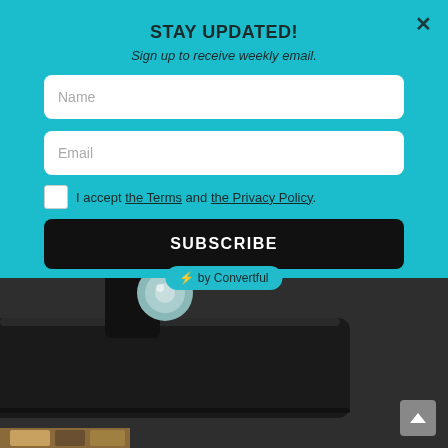STAY UPDATED!
Sign up to receive weekly email.
Name
Email
I accept the Terms and the Privacy Policy.
SUBSCRIBE
⚡ by Convertful
[Figure (photo): Close-up photo of a digital microscope base and lens on a dark surface]